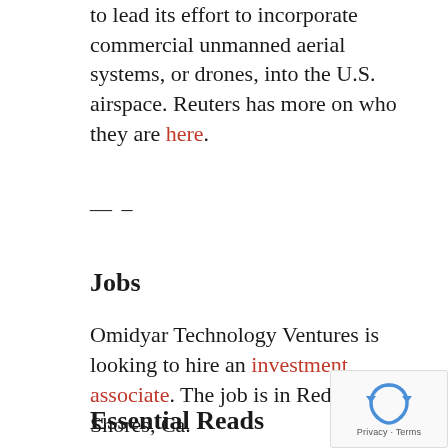to lead its effort to incorporate commercial unmanned aerial systems, or drones, into the U.S. airspace. Reuters has more on who they are here.
— –
Jobs
Omidyar Technology Ventures is looking to hire an investment associate. The job is in Redwood Shores, Ca.
— –
Essential Reads